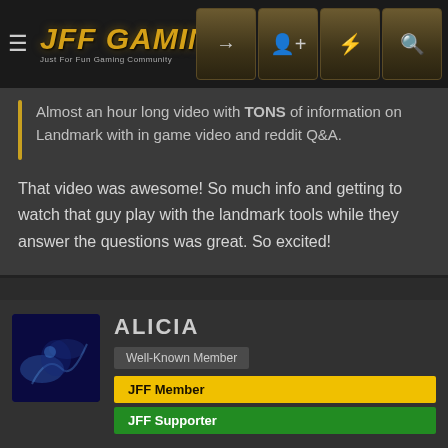JFF GAMING - Just For Fun Gaming Community
Almost an hour long video with TONS of information on Landmark with in game video and reddit Q&A.
That video was awesome! So much info and getting to watch that guy play with the landmark tools while they answer the questions was great. So excited!
ALICIA
Well-Known Member
JFF Member
JFF Supporter
Dec 7, 2013
#10
Cool new video on "What is EverQuest Next Landmark?"